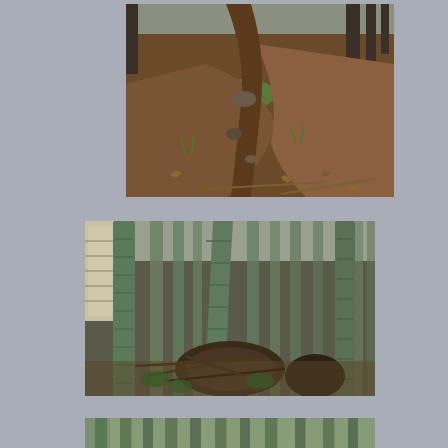[Figure (photo): A steep forest hillside trail with exposed soil, rocks, moss patches, and dried leaves scattered across a sloped terrain among trees]
[Figure (photo): A bamboo forest interior showing tall bamboo trunks rising from a ground covered with fallen leaves, debris, and small undergrowth plants]
[Figure (photo): Another bamboo forest scene showing dense bamboo trunks, partially visible at the bottom edge of the page]